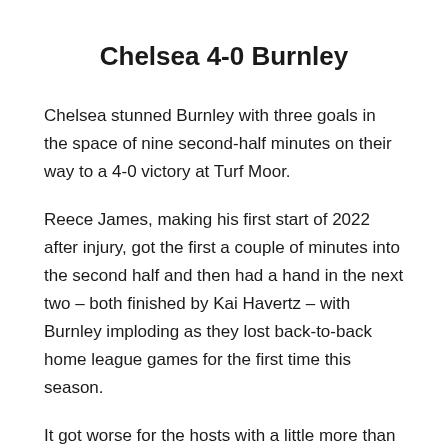Chelsea 4-0 Burnley
Chelsea stunned Burnley with three goals in the space of nine second-half minutes on their way to a 4-0 victory at Turf Moor.
Reece James, making his first start of 2022 after injury, got the first a couple of minutes into the second half and then had a hand in the next two – both finished by Kai Havertz – with Burnley imploding as they lost back-to-back home league games for the first time this season.
It got worse for the hosts with a little more than 20 minutes to go when a mistake from James Tarkowski left Christian Pulisic with the easiest of finishes from barely a yard out.